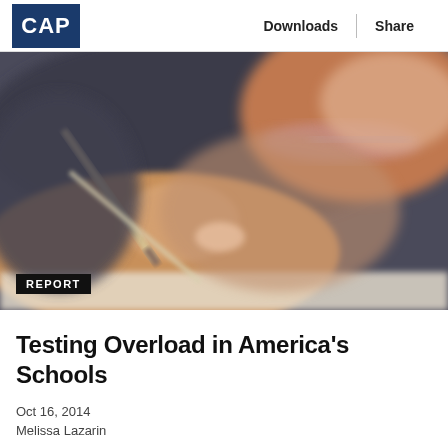CAP | Downloads | Share
[Figure (photo): Close-up photo of a child wearing glasses writing with a pencil on paper, viewed from above at an angle. The image is slightly blurred/shallow depth of field.]
REPORT
Testing Overload in America's Schools
Oct 16, 2014
Melissa Lazarin